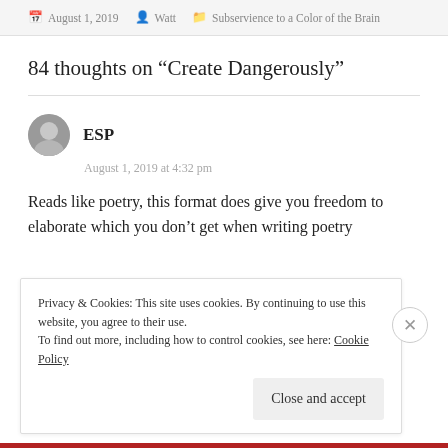August 1, 2019  Watt  Subservience to a Color of the Brain
84 thoughts on “Create Dangerously”
ESP
August 1, 2019 at 4:32 pm
Reads like poetry, this format does give you freedom to elaborate which you don’t get when writing poetry
Privacy & Cookies: This site uses cookies. By continuing to use this website, you agree to their use.
To find out more, including how to control cookies, see here: Cookie Policy